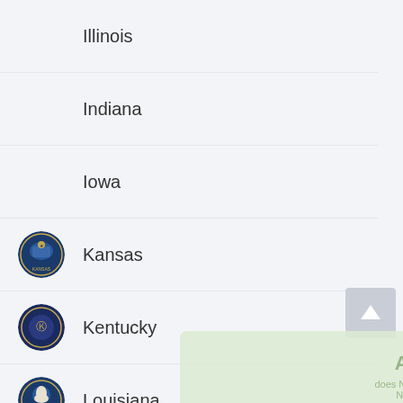Illinois
Indiana
Iowa
Kansas
Kentucky
Louisiana
Maine
Maryland